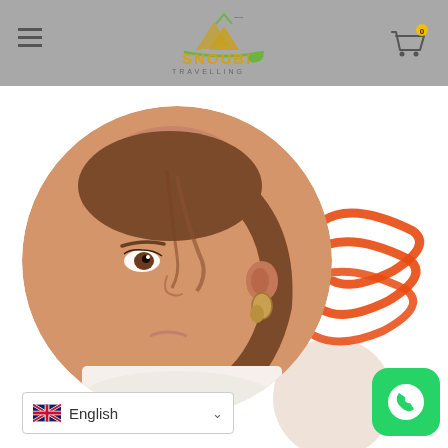[Figure (logo): Snoubi Travelling logo with mountain graphic, green and gold text, on gray header background]
[Figure (photo): Close-up portrait of a young woman with brown hair wearing gold hoop earrings, shown in a circular crop]
[Figure (illustration): Orange handwritten scribble/brush stroke decoration on the right side]
[Figure (illustration): Beige semi-circle decoration in lower right area]
[Figure (illustration): WhatsApp green button icon in lower right corner]
English